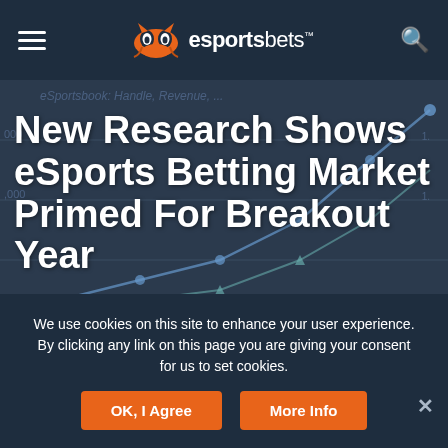esportsbets
New Research Shows eSports Betting Market Primed For Breakout Year
by Dustin Gouker
Posted on August 20, 2015 - Last Updated on June 5, 2020
We use cookies on this site to enhance your user experience. By clicking any link on this page you are giving your consent for us to set cookies.
OK, I Agree | More Info